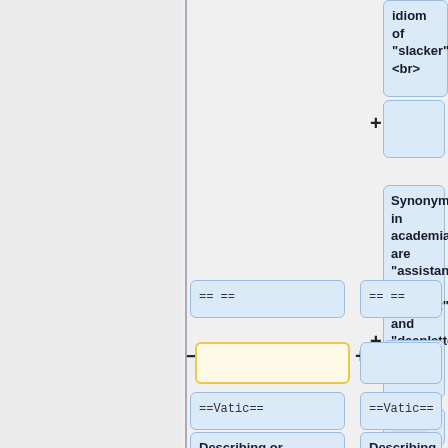idiom of "slacker". <br>
+
Synonyms in academia are "assistant dean", "deanlet" and "deanlette".
+
== ==
== ==
-
+
+
----
==Vatic==
==Vatic==
Describing or predicting what will happen in the
Describing or predicting what will happen in the